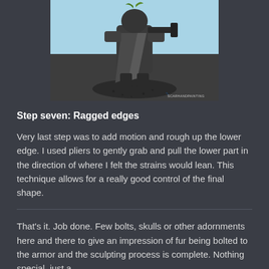[Figure (photo): Photo of a dark grey Warhammer-style miniature figure holding a weapon, seated on a round textured base, against a light blue background. Watermark reads SCARHANDPAINTING in bottom right.]
Step seven: Ragged edges
Very last step was to add motion and rough up the lower edge. I used pliers to gently grab and pull the lower part in the direction of where I felt the strains would lean. This technique allows for a really good control of the final shape.
That's it. Job done. Few bolts, skulls or other adornments here and there to give an impression of fur being bolted to the armor and the sculpting process is complete. Nothing special, just a